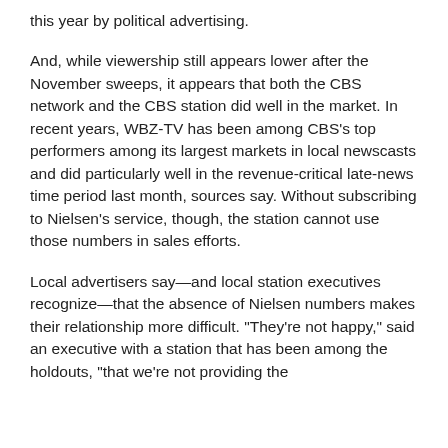this year by political advertising.
And, while viewership still appears lower after the November sweeps, it appears that both the CBS network and the CBS station did well in the market. In recent years, WBZ-TV has been among CBS's top performers among its largest markets in local newscasts and did particularly well in the revenue-critical late-news time period last month, sources say. Without subscribing to Nielsen's service, though, the station cannot use those numbers in sales efforts.
Local advertisers say—and local station executives recognize—that the absence of Nielsen numbers makes their relationship more difficult. "They're not happy," said an executive with a station that has been among the holdouts, "that we're not providing the